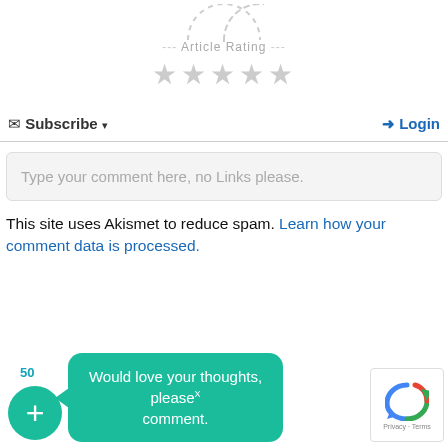[Figure (illustration): Partial dashed circle arc at top of page, article rating widget]
Article Rating
[Figure (illustration): Five empty/grey star rating icons]
Subscribe ▾   Login
Type your comment here, no Links please.
This site uses Akismet to reduce spam. Learn how your comment data is processed.
50
[Figure (illustration): Teal circular plus button with tooltip bubble: Would love your thoughts, please comment.]
[Figure (illustration): Google reCAPTCHA widget with logo and Privacy - Terms text]